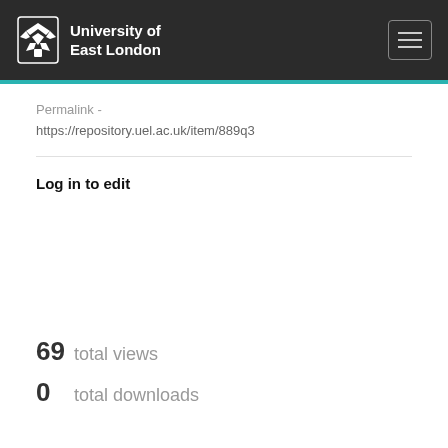[Figure (logo): University of East London logo with crest and text on dark background header with hamburger menu button]
Permalink -
https://repository.uel.ac.uk/item/889q3
Log in to edit
69  total views
0  total downloads